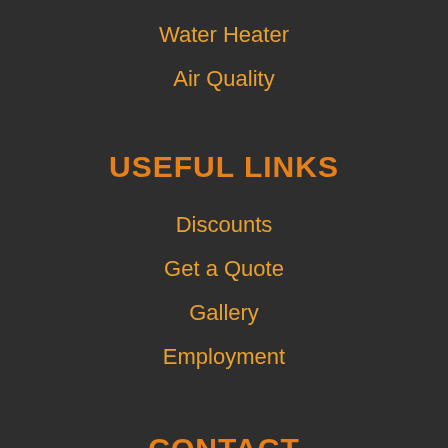Water Heater
Air Quality
USEFUL LINKS
Discounts
Get a Quote
Gallery
Employment
CONTACT